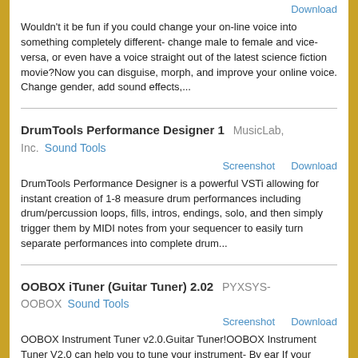Download
Wouldn't it be fun if you could change your on-line voice into something completely different- change male to female and vice-versa, or even have a voice straight out of the latest science fiction movie?Now you can disguise, morph, and improve your online voice. Change gender, add sound effects,...
DrumTools Performance Designer 1   MusicLab, Inc.   Sound Tools
Screenshot   Download
DrumTools Performance Designer is a powerful VSTi allowing for instant creation of 1-8 measure drum performances including drum/percussion loops, fills, intros, endings, solo, and then simply trigger them by MIDI notes from your sequencer to easily turn separate performances into complete drum...
OOBOX iTuner (Guitar Tuner) 2.02   PYXSYS-OOBOX   Sound Tools
Screenshot   Download
OOBOX Instrument Tuner v2.0.Guitar Tuner!OOBOX Instrument Tuner V2.0 can help you to tune your instrument- By ear If your computer can play MIDI Sounds, OOBOX Tuner will play one sound for each string, you just have to reproduce the same sound on your instrument. - Using the digital tuner. If...
Easy Music Composer Free 8.8   MCS   Sound Tools
Screenshot   Download
Easy Music Composer Free is a automatic composer You can make wonderful